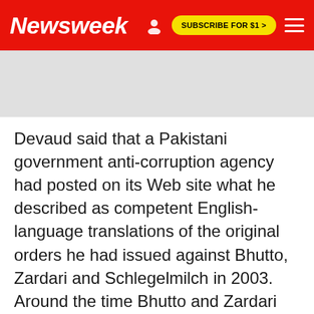Newsweek
Devaud said that a Pakistani government anti-corruption agency had posted on its Web site what he described as competent English-language translations of the original orders he had issued against Bhutto, Zardari and Schlegelmilch in 2003. Around the time Bhutto and Zardari returned to Pakistan from exile last year, however, the documents outlining the